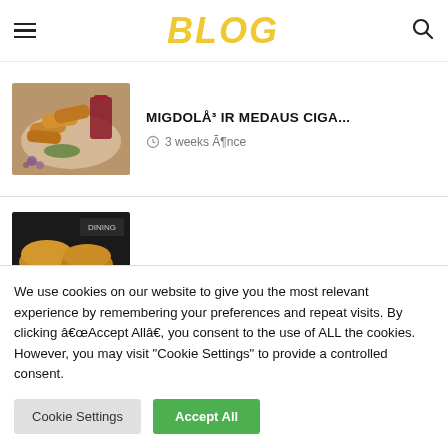BLOG
MIGDOLÅ³ IR MEDAUS CIGA...
3 weeks Ã¶nce
[Figure (photo): Food photo showing rolled pastries/cigars on a plate with a drink, second card shows bread/buns]
We use cookies on our website to give you the most relevant experience by remembering your preferences and repeat visits. By clicking â€œAccept Allâ€, you consent to the use of ALL the cookies. However, you may visit "Cookie Settings" to provide a controlled consent.